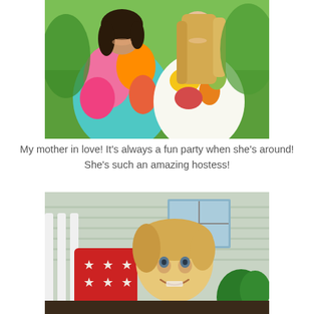[Figure (photo): Two women smiling and posing together outdoors in a green garden setting. Left woman wears a colorful teal, pink and orange floral dress. Right woman has long blonde hair and wears a white dress with floral print.]
My mother in love! It's always a fun party when she's around! She's such an amazing hostess!
[Figure (photo): A young toddler with blonde hair sitting on a white outdoor bench or swing on a porch, smiling at the camera. A red pillow with white stars is visible to the left. Green shrubs and house siding visible in background.]